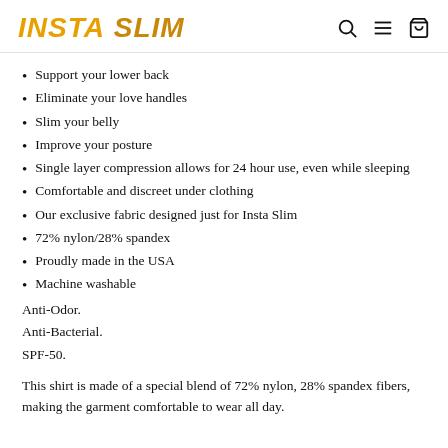INSTA SLIM
Support your lower back
Eliminate your love handles
Slim your belly
Improve your posture
Single layer compression allows for 24 hour use, even while sleeping
Comfortable and discreet under clothing
Our exclusive fabric designed just for Insta Slim
72% nylon/28% spandex
Proudly made in the USA
Machine washable
Anti-Odor.
Anti-Bacterial.
SPF-50.
This shirt is made of a special blend of 72% nylon, 28% spandex fibers, making the garment comfortable to wear all day.